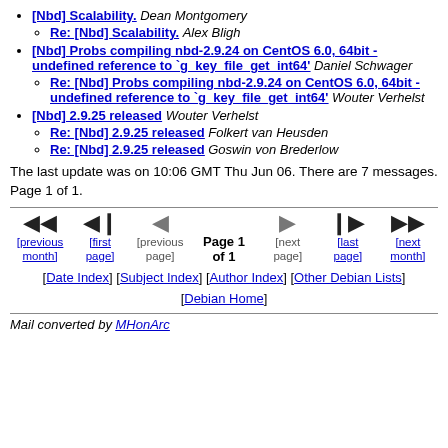[Nbd] Scalability. Dean Montgomery
Re: [Nbd] Scalability. Alex Bligh
[Nbd] Probs compiling nbd-2.9.24 on CentOS 6.0, 64bit - undefined reference to `g_key_file_get_int64' Daniel Schwager
Re: [Nbd] Probs compiling nbd-2.9.24 on CentOS 6.0, 64bit - undefined reference to `g_key_file_get_int64' Wouter Verhelst
[Nbd] 2.9.25 released Wouter Verhelst
Re: [Nbd] 2.9.25 released Folkert van Heusden
Re: [Nbd] 2.9.25 released Goswin von Brederlow
The last update was on 10:06 GMT Thu Jun 06. There are 7 messages. Page 1 of 1.
Page 1 of 1 navigation with previous month, first page, previous page, next page, last page, next month
[Date Index] [Subject Index] [Author Index] [Other Debian Lists] [Debian Home]
Mail converted by MHonArc